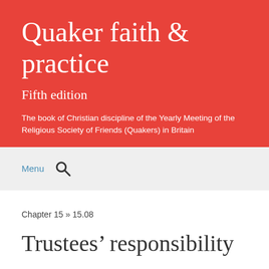Quaker faith & practice
Fifth edition
The book of Christian discipline of the Yearly Meeting of the Religious Society of Friends (Quakers) in Britain
Menu
Chapter 15 » 15.08
Trustees' responsibility